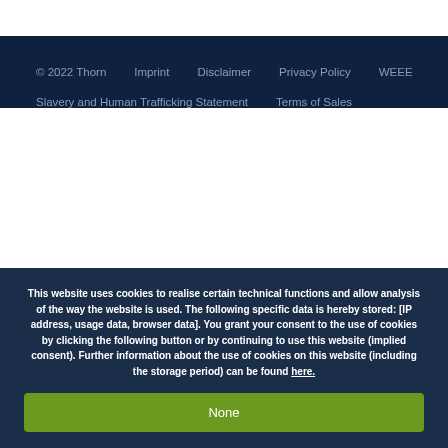© 2022 Thorn    Imprint    Disclaimer    Privacy Policy    WEEE    Slavery and Human Trafficking Statement    Terms of Sales
This website uses cookies to realise certain technical functions and allow analysis of the way the website is used. The following specific data is hereby stored: [IP address, usage data, browser data]. You grant your consent to the use of cookies by clicking the following button or by continuing to use this website (implied consent). Further information about the use of cookies on this website (including the storage period) can be found here.
None